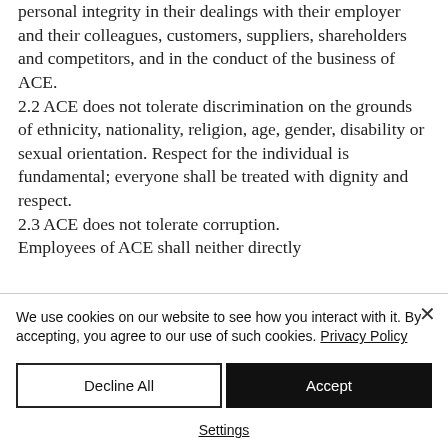personal integrity in their dealings with their employer and their colleagues, customers, suppliers, shareholders and competitors, and in the conduct of the business of ACE.
2.2 ACE does not tolerate discrimination on the grounds of ethnicity, nationality, religion, age, gender, disability or sexual orientation. Respect for the individual is fundamental; everyone shall be treated with dignity and respect.
2.3 ACE does not tolerate corruption. Employees of ACE shall neither directly
We use cookies on our website to see how you interact with it. By accepting, you agree to our use of such cookies. Privacy Policy
Decline All
Accept
Settings